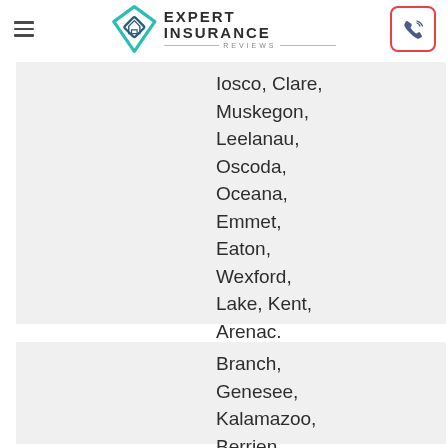Expert Insurance Reviews
Iosco, Clare, Muskegon, Leelanau, Oscoda, Oceana, Emmet, Eaton, Wexford, Lake, Kent, Arenac, Charlevoix, Huron
Branch, Genesee, Kalamazoo, Berrien, Wayne,